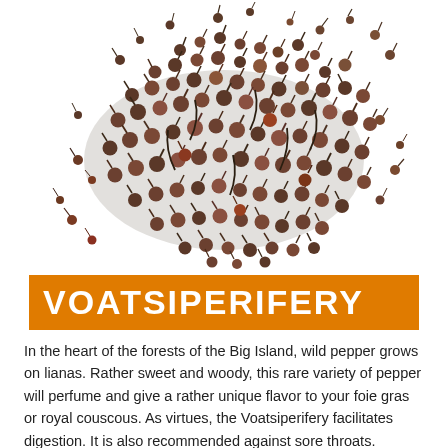[Figure (photo): A pile of voatsiperifery wild pepper berries with stems, dark brown-green in color, scattered on a white background. An orange banner at the bottom reads VOATSIPERIFERY in white bold text.]
In the heart of the forests of the Big Island, wild pepper grows on lianas. Rather sweet and woody, this rare variety of pepper will perfume and give a rather unique flavor to your foie gras or royal couscous. As virtues, the Voatsiperifery facilitates digestion. It is also recommended against sore throats.